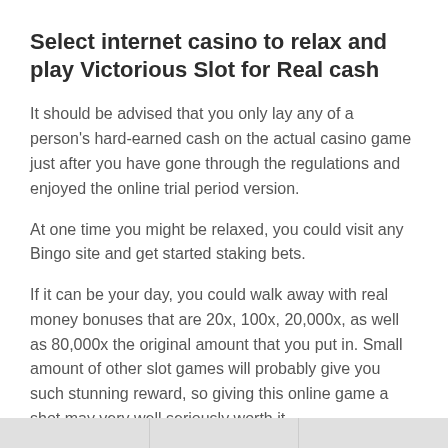Select internet casino to relax and play Victorious Slot for Real cash
It should be advised that you only lay any of a person's hard-earned cash on the actual casino game just after you have gone through the regulations and enjoyed the online trial period version.
At one time you might be relaxed, you could visit any Bingo site and get started staking bets.
If it can be your day, you could walk away with real money bonuses that are 20x, 100x, 20,000x, as well as 80,000x the original amount that you put in. Small amount of other slot games will probably give you such stunning reward, so giving this online game a shot may very well seriously worth it.